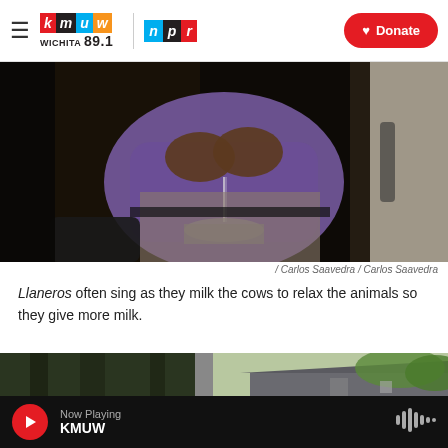KMUW Wichita 89.1 | NPR | Donate
[Figure (photo): Close-up photograph of a person in a purple shirt milking a cow by hand, with a stream of milk visible going into a metal bucket. The scene is dark/dimly lit.]
/ Carlos Saavedra / Carlos Saavedra
Llaneros often sing as they milk the cows to relax the animals so they give more milk.
[Figure (photo): Partial view of a second photo showing trees on the left and a building/structure on the right with green foliage in the background.]
Now Playing KMUW